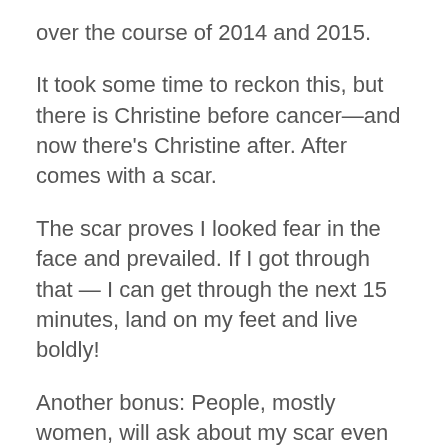over the course of 2014 and 2015.
It took some time to reckon this, but there is Christine before cancer—and now there's Christine after. After comes with a scar.
The scar proves I looked fear in the face and prevailed. If I got through that — I can get through the next 15 minutes, land on my feet and live boldly!
Another bonus: People, mostly women, will ask about my scar even though it's a very thin, dull line five years later. That means I have the opportunity to educate others about thyroid cancer and how they should self-check their neck for lumps.